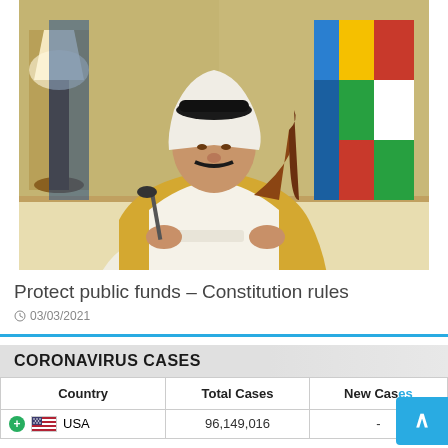[Figure (photo): A dignitary in traditional Arab attire (white thobe and gold bisht) seated at a desk holding papers, with multiple national flags visible in the background including what appears to be Kuwaiti flags. Ornate room setting with gold lamp on the left.]
Protect public funds – Constitution rules
03/03/2021
CORONAVIRUS CASES
| Country | Total Cases | New Cases |
| --- | --- | --- |
| USA | 96,149,016 | - |